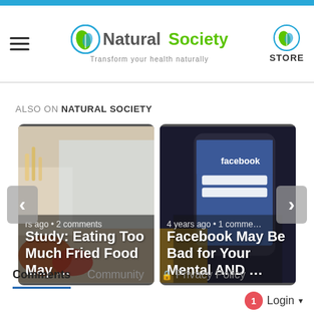Natural Society — Transform your health naturally
ALSO ON NATURAL SOCIETY
[Figure (screenshot): Article card: Study: Eating Too Much Fried Food May … — food image background, rs ago • 2 comments]
[Figure (screenshot): Article card: Facebook May Be Bad for Your Mental AND … — phone with Facebook app, 4 years ago • 1 comment]
Comments  Community  Privacy Policy
Login